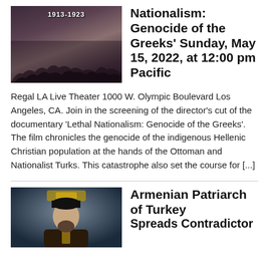[Figure (photo): Black and white historical photo with '1913-1923' label, showing a crowd of people]
Nationalism: Genocide of the Greeks' Sunday, May 15, 2022, at 12:00 pm Pacific
Regal LA Live Theater 1000 W. Olympic Boulevard Los Angeles, CA. Join in the screening of the director's cut of the documentary 'Lethal Nationalism: Genocide of the Greeks'. The film chronicles the genocide of the indigenous Hellenic Christian population at the hands of the Ottoman and Nationalist Turks. This catastrophe also set the course for [...]
[Figure (photo): Photo of Armenian Patriarch of Turkey, a man in religious vestments and hat]
Armenian Patriarch of Turkey